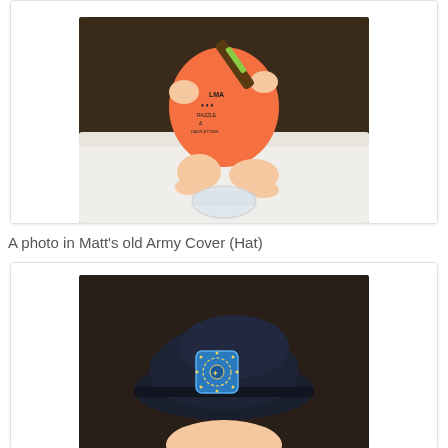[Figure (photo): Baby in orange onesie sitting on white fur rug, holding a bottle tilted toward a glass bowl]
A photo in Matt's old Army Cover (Hat)
[Figure (photo): Baby wearing a dark navy army beret hat with a blue shield insignia badge featuring a circular design]